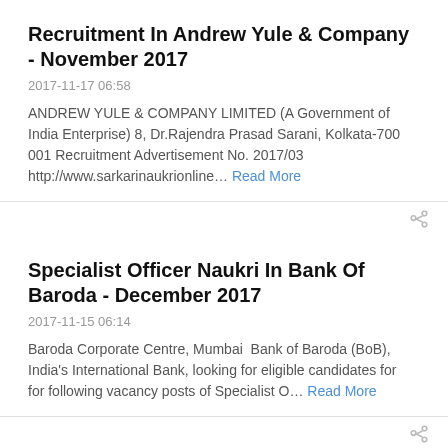Recruitment In Andrew Yule & Company - November 2017
2017-11-17 06:58
ANDREW YULE & COMPANY LIMITED (A Government of India Enterprise) 8, Dr.Rajendra Prasad Sarani, Kolkata-700 001 Recruitment Advertisement No. 2017/03  http://www.sarkarinaukrionline… Read More
Specialist Officer Naukri In Bank Of Baroda - December 2017
2017-11-15 06:14
Baroda Corporate Centre, Mumbai  Bank of Baroda (BoB), India's International Bank, looking for eligible candidates for  for following vacancy posts of Specialist O… Read More
Scientist/Engineer Naukri In ISRO LPSC - November 2017
2017-11-14 07:12
Government of India Department of Space Indian Space Re...